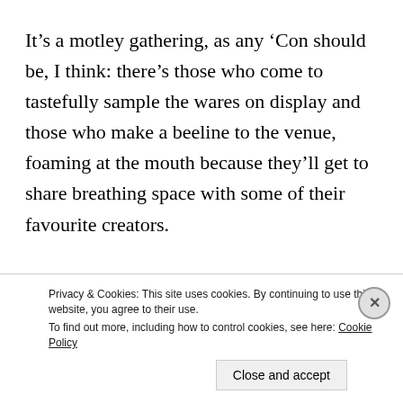It’s a motley gathering, as any ‘Con should be, I think: there’s those who come to tastefully sample the wares on display and those who make a beeline to the venue, foaming at the mouth because they’ll get to share breathing space with some of their favourite creators.
(All despite the rain: an important caveat considering
Privacy & Cookies: This site uses cookies. By continuing to use this website, you agree to their use. To find out more, including how to control cookies, see here: Cookie Policy